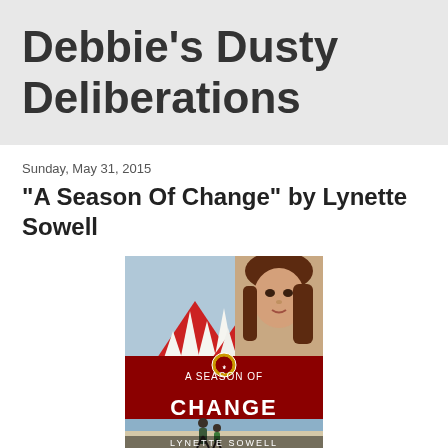Debbie's Dusty Deliberations
Sunday, May 31, 2015
"A Season Of Change" by Lynette Sowell
[Figure (illustration): Book cover for 'A Season of Change' by Lynette Sowell, showing a circus tent with red and white stripes, a woman's face, and two figures on a beach at the bottom.]